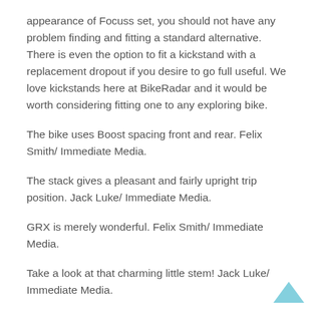appearance of Focuss set, you should not have any problem finding and fitting a standard alternative. There is even the option to fit a kickstand with a replacement dropout if you desire to go full useful. We love kickstands here at BikeRadar and it would be worth considering fitting one to any exploring bike.
The bike uses Boost spacing front and rear. Felix Smith/ Immediate Media.
The stack gives a pleasant and fairly upright trip position. Jack Luke/ Immediate Media.
GRX is merely wonderful. Felix Smith/ Immediate Media.
Take a look at that charming little stem! Jack Luke/ Immediate Media.
Whether youre smashing about singletrack or cruising along bike courses, its likewise just great fun to ride.
[Figure (illustration): Light blue upward-pointing chevron/arrow scroll-to-top button in the bottom-right corner]